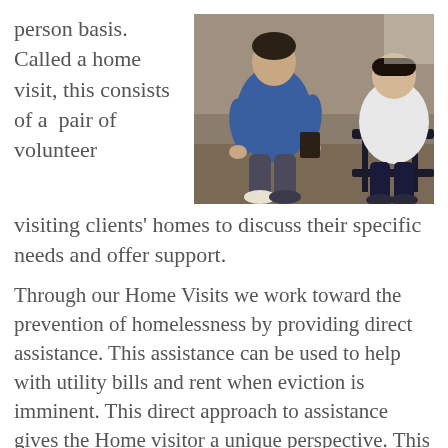person basis. Called a home visit, this consists of a pair of volunteer visiting clients' homes to discuss their specific needs and offer support.
[Figure (photo): Two people sitting together, one in a blue jacket and one in a white long-sleeve shirt, appearing to have a conversation, possibly in a home setting.]
Through our Home Visits we work toward the prevention of homelessness by providing direct assistance. This assistance can be used to help with utility bills and rent when eviction is imminent. This direct approach to assistance gives the Home visitor a unique perspective. This perspective allows us to offer additional assistance that may be needed, such as, food, clothing and furniture.
Our home visitors belong to ten conferences, or volunteer groups spread across Southwest Idaho.